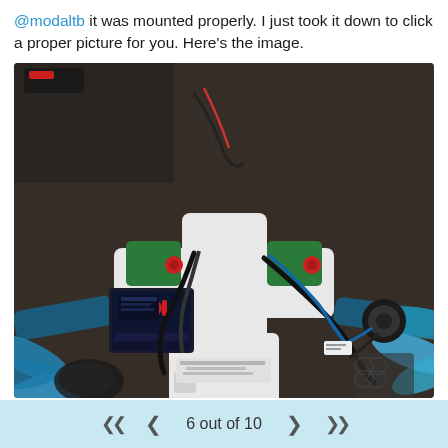@modaltb it was mounted properly. I just took it down to click a proper picture for you. Here's the image.
[Figure (photo): Top-down photo of a drone/quadcopter frame laid out on a dark surface. The white cross-shaped frame is visible in the center with green mounting brackets and red standoffs. Blue propellers are visible on the left and right arms. Electronic components including what appears to be a flight controller with wiring are mounted on the frame. Various black cables are connected throughout.]
6 out of 10